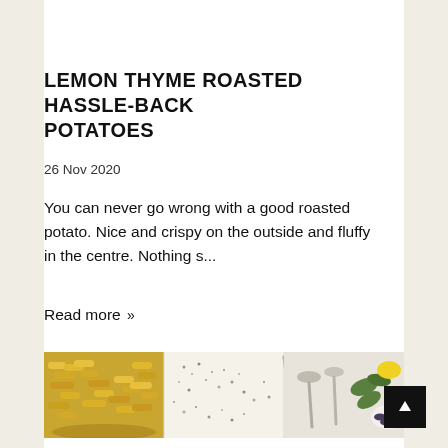LEMON THYME ROASTED HASSLE-BACK POTATOES
26 Nov 2020
You can never go wrong with a good roasted potato. Nice and crispy on the outside and fluffy in the centre. Nothing s...
Read more »
[Figure (photo): Horizontal banner with food photos: a bowl of roasted potato fingers on the left, spices/herbs in the middle, silver spoons on a white surface, green leaves and lemon with a bowl of mussels on the right.]